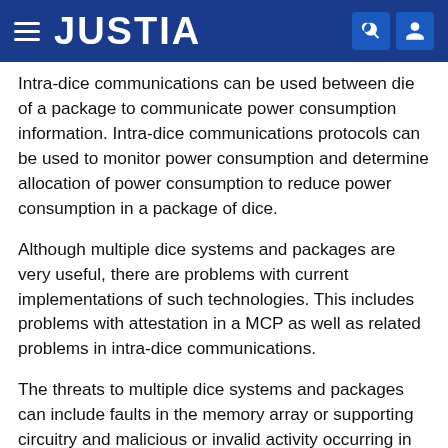JUSTIA
Intra-dice communications can be used between die of a package to communicate power consumption information. Intra-dice communications protocols can be used to monitor power consumption and determine allocation of power consumption to reduce power consumption in a package of dice.
Although multiple dice systems and packages are very useful, there are problems with current implementations of such technologies. This includes problems with attestation in a MCP as well as related problems in intra-dice communications.
The threats to multiple dice systems and packages can include faults in the memory array or supporting circuitry and malicious or invalid activity occurring in the memory array or supporting circuitry. Such problems can also occur in the intra-dice communications and